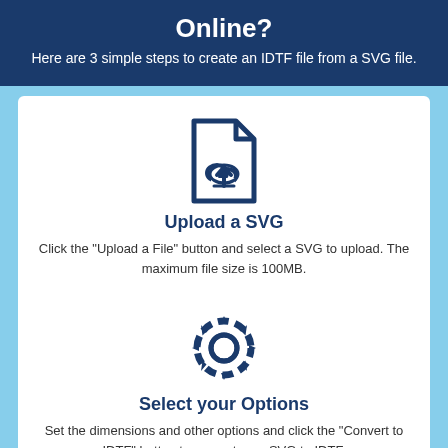Online?
Here are 3 simple steps to create an IDTF file from a SVG file.
[Figure (illustration): File upload icon: document with folded corner and cloud upload arrow symbol in dark navy blue]
Upload a SVG
Click the "Upload a File" button and select a SVG to upload. The maximum file size is 100MB.
[Figure (illustration): Settings/gear icon in dark navy blue]
Select your Options
Set the dimensions and other options and click the "Convert to IDTF" button to convert your SVG to IDTF.